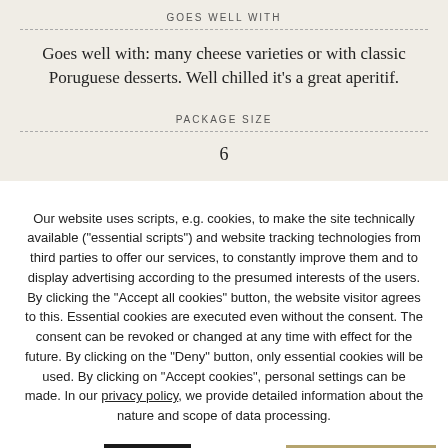GOES WELL WITH
Goes well with: many cheese varieties or with classic Poruguese desserts. Well chilled it's a great aperitif.
PACKAGE SIZE
6
Our website uses scripts, e.g. cookies, to make the site technically available ("essential scripts") and website tracking technologies from third parties to offer our services, to constantly improve them and to display advertising according to the presumed interests of the users. By clicking the "Accept all cookies" button, the website visitor agrees to this. Essential cookies are executed even without the consent. The consent can be revoked or changed at any time with effect for the future. By clicking on the "Deny" button, only essential cookies will be used. By clicking on "Accept cookies", personal settings can be made. In our privacy policy, we provide detailed information about the nature and scope of data processing.
Cookie settings
Deny
Accept cookies
Accept all cookies